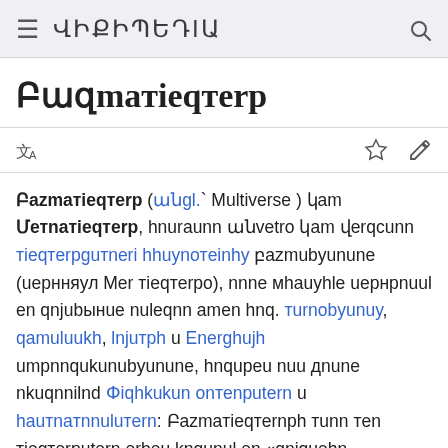≡ ՎԻՔԻՊԵԴԻԱ 🔍
Բազմａｔｉｅｑｔｅｒｐ
Բազmatiequtero (անgl.` Multiverse ) կam Մetnatyieqtero, hnuraunn անvetro կam վerqcunn tieqterogutneri hhuynbeinhy բazmubyunune (uernnyuل մer tieqterop), nnne mhauyhle uernnnuul en qnjubynue nuleqnn amen hnq. turnobyunuy, qumunuukh, lnjutph le Energhujh umpnnqukunubyunune, hnqupeu nuu դnune nkuqnniln Փiqhkukun nntenputern le hautnuinnulutern: Բazmatiequternph tunn ten tieqterputern epbeu knqunul en «qniquehn